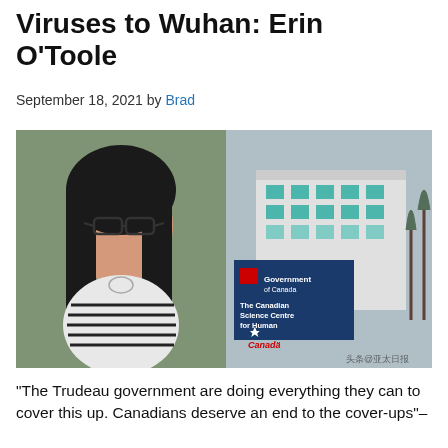Viruses to Wuhan: Erin O'Toole
September 18, 2021 by Brad
[Figure (photo): Left: portrait photo of a woman with glasses and black hair wearing a striped top. Right: exterior of The Canadian Science Centre for Human and Animal Health building with Government of Canada signage showing address 1015 Arlington Street, Winnipeg.]
“The Trudeau government are doing everything they can to cover this up. Canadians deserve an end to the cover-ups”– Erin O’Toole